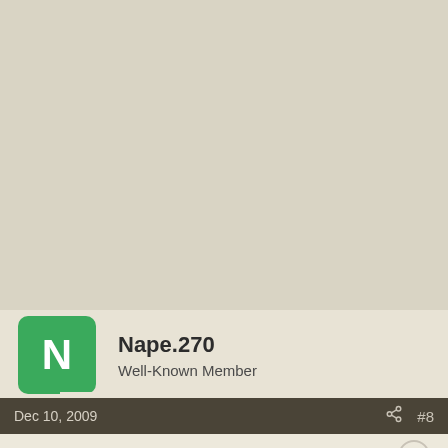[Figure (other): Large beige/tan blank area filling the top portion of the page, serving as background or image placeholder]
Nape.270
Well-Known Member
Dec 10, 2009   #8
Thanks again